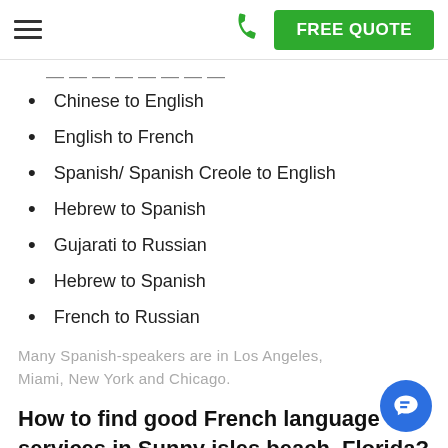FREE QUOTE
Chinese to English
English to French
Spanish/ Spanish Creole to English
Hebrew to Spanish
Gujarati to Russian
Hebrew to Spanish
French to Russian
Many Spanish-speakers are in Los Angeles, Miami, New York and Chicago.
How to find good French language services in Sunny isles beach, Florida? The company will offer dialects such as: